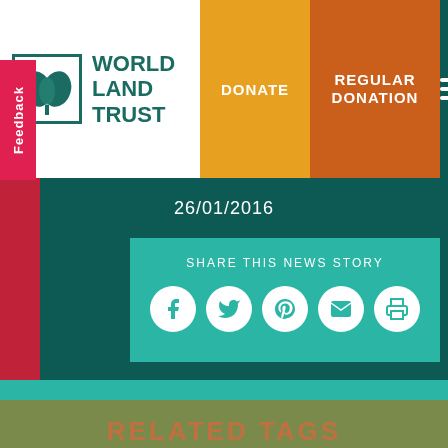WORLD LAND TRUST | DONATE | REGULAR DONATION
26/01/2016
SHARE THIS NEWS STORY
Feedback
RELATED TAGS
We use cookies to optimise our website and provide the best experience
CONSERVATION NEWS, KEEPERS OF THE WILD, KENYA, RANGER ANDREW,
Accept
Cookie Policy  Privacy Policy
RELATED NEWS